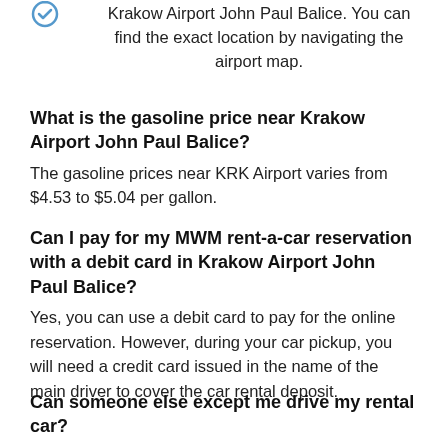Krakow Airport John Paul Balice. You can find the exact location by navigating the airport map.
What is the gasoline price near Krakow Airport John Paul Balice?
The gasoline prices near KRK Airport varies from $4.53 to $5.04 per gallon.
Can I pay for my MWM rent-a-car reservation with a debit card in Krakow Airport John Paul Balice?
Yes, you can use a debit card to pay for the online reservation. However, during your car pickup, you will need a credit card issued in the name of the main driver to cover the car rental deposit.
Can someone else except me drive my rental car?
This will be possible if you select the additional driver option during your online reservation. Most of the time, this is a paid option that is charged at the car rental desk